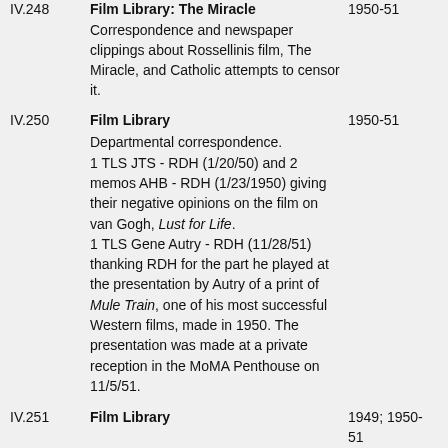IV.248  Film Library: The Miracle  1950-51
Correspondence and newspaper clippings about Rossellinis film, The Miracle, and Catholic attempts to censor it.
IV.250  Film Library  1950-51
Departmental correspondence.
1 TLS JTS - RDH (1/20/50) and 2 memos AHB - RDH (1/23/1950) giving their negative opinions on the film on van Gogh, Lust for Life.
1 TLS Gene Autry - RDH (11/28/51) thanking RDH for the part he played at the presentation by Autry of a print of Mule Train, one of his most successful Western films, made in 1950. The presentation was made at a private reception in the MoMA Penthouse on 11/5/51.
IV.251  Film Library  1949; 1950-51
Departmental correspondence.
Letters from Iris Barry to RDH explaining her decision to leave her position as Director of the Film Library.
IV.252  Front Desk  1965-67
Correspondence. Sales and admissions